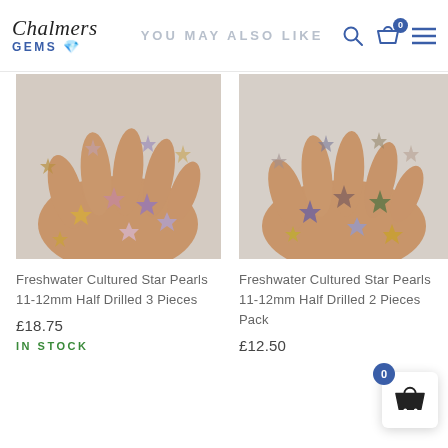Chalmers GEMS — YOU MAY ALSO LIKE
[Figure (photo): Hand holding multiple iridescent star-shaped freshwater cultured pearls, warm golden and pink-purple hues, white background.]
[Figure (photo): Hand holding multiple iridescent star-shaped freshwater cultured pearls, darker metallic hues, white background.]
Freshwater Cultured Star Pearls 11-12mm Half Drilled 3 Pieces
£18.75
IN STOCK
Freshwater Cultured Star Pearls 11-12mm Half Drilled 2 Pieces Pack
£12.50